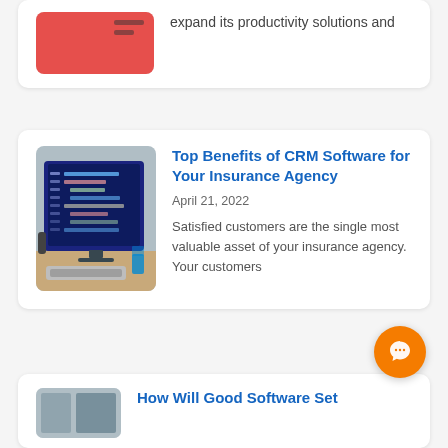expand its productivity solutions and
[Figure (photo): Red background with partial dark icon or image, partially cropped at top]
[Figure (photo): Computer monitor displaying code in dark blue/navy IDE, with keyboard and desk accessories visible]
Top Benefits of CRM Software for Your Insurance Agency
April 21, 2022
Satisfied customers are the single most valuable asset of your insurance agency. Your customers
[Figure (photo): Partial photo visible at bottom left, partially cropped]
How Will Good Software Set